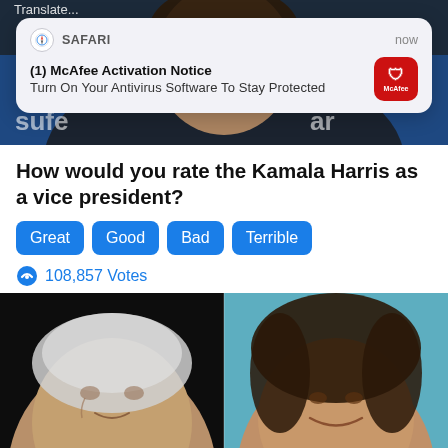[Figure (screenshot): Partial photo of Kamala Harris at a podium with blue banner text visible, overlaid with a Safari/McAfee notification popup]
(1) McAfee Activation Notice
Turn On Your Antivirus Software To Stay Protected
How would you rate the Kamala Harris as a vice president?
Great  Good  Bad  Terrible
108,857 Votes
[Figure (photo): Side-by-side photos of Joe Biden (left) and Kamala Harris (right)]